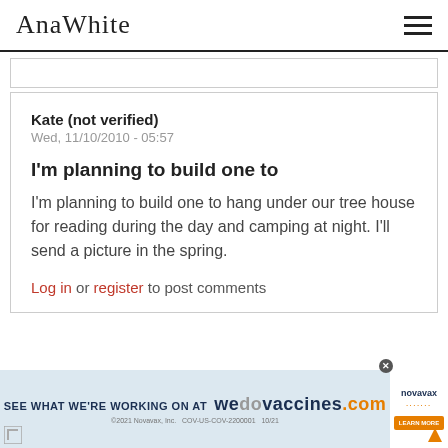AnaWhite
Kate (not verified)
Wed, 11/10/2010 - 05:57
I'm planning to build one to
I'm planning to build one to hang under our tree house for reading during the day and camping at night. I'll send a picture in the spring.
Log in or register to post comments